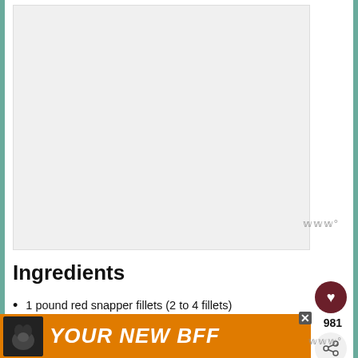[Figure (photo): Top portion of a food recipe page showing a large image area (partially visible, appears to be a fish dish)]
Ingredients
1 pound red snapper fillets (2 to 4 fillets)
Salt
2 limes, divided
2 tbsp. extra-virgin olive oil
1 white onion, peeled and chopped
6 garlic cloves, peeled and chopped
2 tablespoons capers, rinsed
[Figure (advertisement): Orange advertisement banner reading YOUR NEW BFF with a dog image]